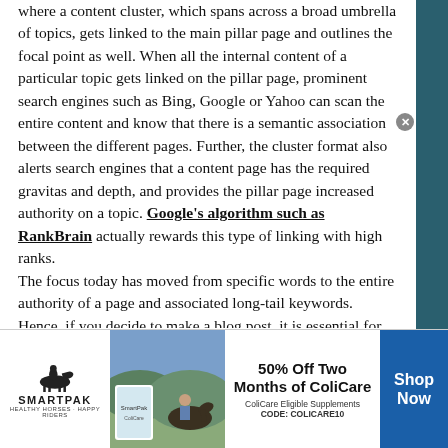where a content cluster, which spans across a broad umbrella of topics, gets linked to the main pillar page and outlines the focal point as well. When all the internal content of a particular topic gets linked on the pillar page, prominent search engines such as Bing, Google or Yahoo can scan the entire content and know that there is a semantic association between the different pages. Further, the cluster format also alerts search engines that a content page has the required gravitas and depth, and provides the pillar page increased authority on a topic. Google's algorithm such as RankBrain actually rewards this type of linking with high ranks.

The focus today has moved from specific words to the entire authority of a page and associated long-tail keywords. Hence, if you decide to make a blog post, it is essential for the content to touch upon all the relevant topics and sub-topics so that online readers find it valuable
[Figure (other): SmartPak advertisement banner showing horse and rider with text '50% Off Two Months of ColiCare, ColiCare Eligible Supplements, CODE: COLICARE10' and a 'Shop Now' button]